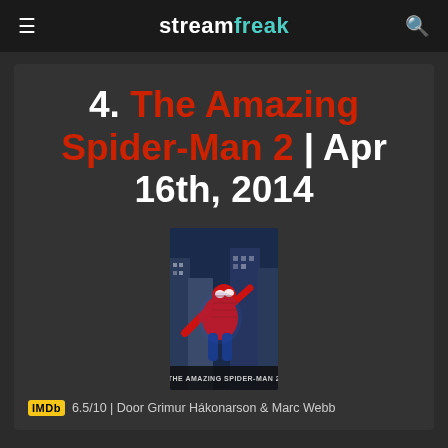streamfreak
4. The Amazing Spider-Man 2 | Apr 16th, 2014
[Figure (photo): Movie poster for The Amazing Spider-Man 2 showing Spider-Man in action pose against city background]
6.5/10 | Door Grimur Hákonarson & Marc Webb